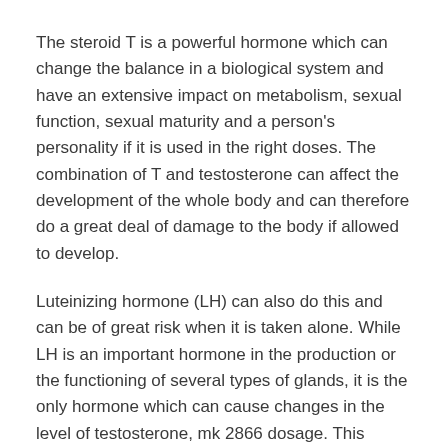The steroid T is a powerful hormone which can change the balance in a biological system and have an extensive impact on metabolism, sexual function, sexual maturity and a person's personality if it is used in the right doses. The combination of T and testosterone can affect the development of the whole body and can therefore do a great deal of damage to the body if allowed to develop.
Luteinizing hormone (LH) can also do this and can be of great risk when it is taken alone. While LH is an important hormone in the production or the functioning of several types of glands, it is the only hormone which can cause changes in the level of testosterone, mk 2866 dosage. This combination of T and LH can be taken orally or in the form of a topical capsule, trenorol